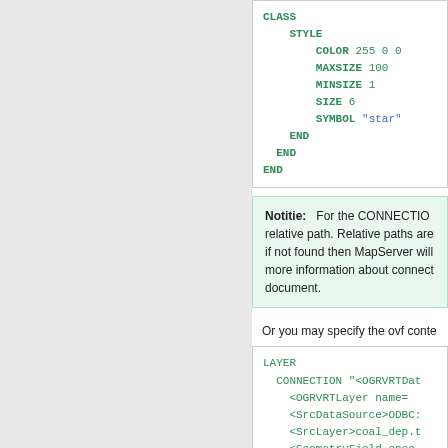[Figure (screenshot): Code block showing CLASS, STYLE, COLOR, MAXSIZE, MINSIZE, SIZE, SYMBOL, END, END, END in green monospace on white background]
Notitie: For the CONNECTION relative path. Relative paths are if not found then MapServer will more information about connect document.
Or you may specify the ovf conte
[Figure (screenshot): Code block showing LAYER, CONNECTION, OGRVRTDataSource, OGRVRTLayer, SrcDataSource, SrcLayer, GeometryField, GeometryType in green/blue monospace]